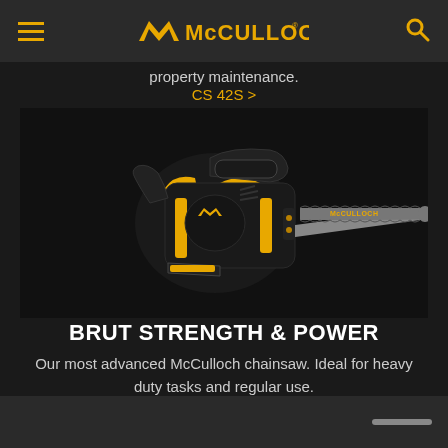McCulloch
property maintenance.
CS 42S >
[Figure (photo): McCulloch CS 50S chainsaw product photo on black background, showing black and orange chainsaw with branded bar]
BRUT STRENGTH & POWER
Our most advanced McCulloch chainsaw. Ideal for heavy duty tasks and regular use.
CS 50S >